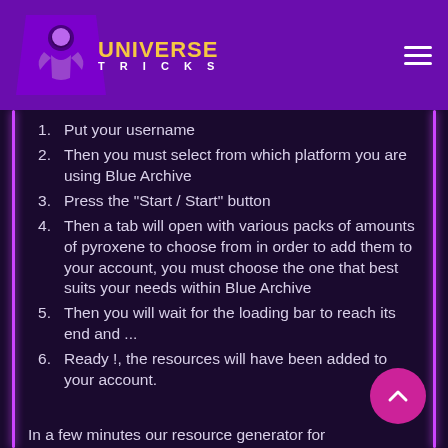Universe Tricks
Put your username
Then you must select from which platform you are using Blue Archive
Press the "Start / Start" button
Then a tab will open with various packs of amounts of pyroxene to choose from in order to add them to your account, you must choose the one that best suits your needs within Blue Archive
Then you will wait for the loading bar to reach its end and ...
Ready !, the resources will have been added to your account.
In a few minutes our resource generator for